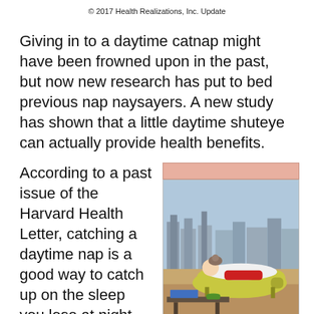© 2017 Health Realizations, Inc. Update
Giving in to a daytime catnap might have been frowned upon in the past, but now new research has put to bed previous nap naysayers. A new study has shown that a little daytime shuteye can actually provide health benefits.
According to a past issue of the Harvard Health Letter, catching a daytime nap is a good way to catch up on the sleep you lose at night,
[Figure (photo): A person with a cat reclining on a yellow/green chaise lounge chair near large windows overlooking a city skyline, with a coffee table in the foreground holding books and a green cup.]